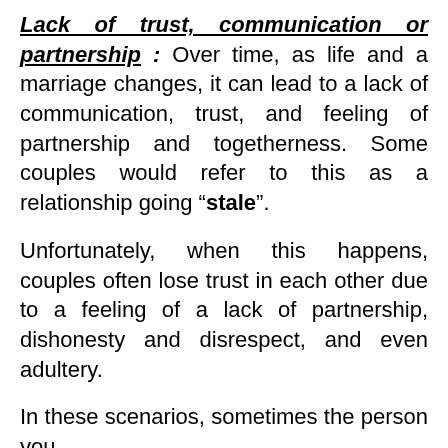Lack of trust, communication or partnership : Over time, as life and a marriage changes, it can lead to a lack of communication, trust, and feeling of partnership and togetherness. Some couples would refer to this as a relationship going “stale”.
Unfortunately, when this happens, couples often lose trust in each other due to a feeling of a lack of partnership, dishonesty and disrespect, and even adultery.
In these scenarios, sometimes the person you